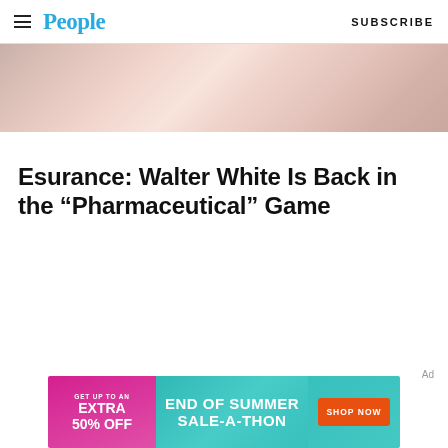People | SUBSCRIBE
[Figure (photo): Partial view of a person, cropped image with pink/light tones forming a hero banner strip]
Esurance: Walter White Is Back in the “Pharmaceutical” Game
Ad
[Figure (infographic): Advertisement banner: GET UP TO AN EXTRA 50% OFF | END OF SUMMER SALE-A-THON | SHOP NOW]